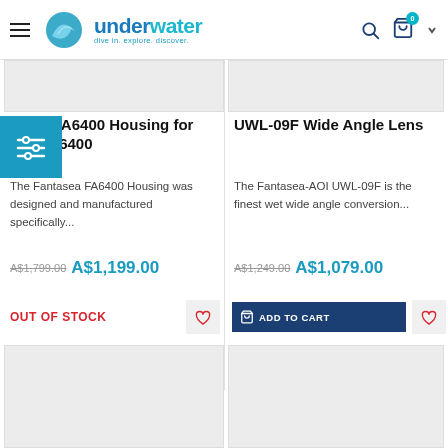underwater — dive in. explore. discover.
[Figure (screenshot): Filter/sort icon button (teal background with sliders icon)]
tasea FA6400 Housing for Sony a6400
The Fantasea FA6400 Housing was designed and manufactured specifically...
A$1,799.00  A$1,199.00
OUT OF STOCK
UWL-09F Wide Angle Lens
The Fantasea-AOI UWL-09F is the finest wet wide angle conversion...
A$1,249.00  A$1,079.00
ADD TO CART
[Figure (photo): Bottom left product image placeholder]
[Figure (photo): Bottom right product image placeholder]